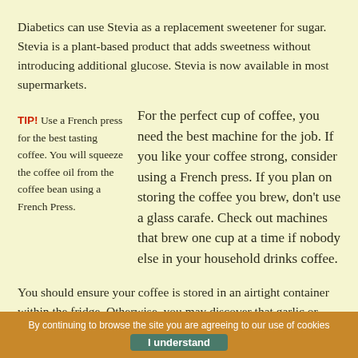Diabetics can use Stevia as a replacement sweetener for sugar. Stevia is a plant-based product that adds sweetness without introducing additional glucose. Stevia is now available in most supermarkets.
TIP! Use a French press for the best tasting coffee. You will squeeze the coffee oil from the coffee bean using a French Press.
For the perfect cup of coffee, you need the best machine for the job. If you like your coffee strong, consider using a French press. If you plan on storing the coffee you brew, don't use a glass carafe. Check out machines that brew one cup at a time if nobody else in your household drinks coffee.
You should ensure your coffee is stored in an airtight container within the fridge. Otherwise, you may discover that garlic or other incompatible odors have tainted your coffee. If stored
By continuing to browse the site you are agreeing to our use of cookies  I understand